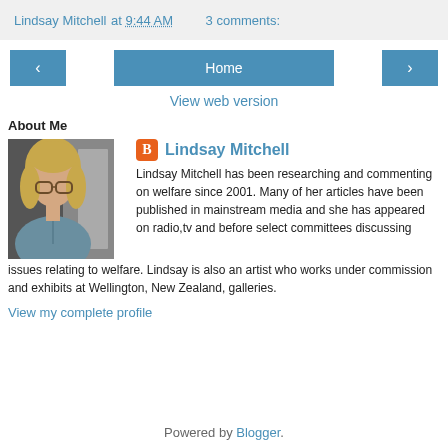Lindsay Mitchell at 9:44 AM   3 comments:
< Home >
View web version
About Me
[Figure (photo): Profile photo of Lindsay Mitchell, a woman with blonde hair and glasses]
Lindsay Mitchell — Lindsay Mitchell has been researching and commenting on welfare since 2001. Many of her articles have been published in mainstream media and she has appeared on radio,tv and before select committees discussing issues relating to welfare. Lindsay is also an artist who works under commission and exhibits at Wellington, New Zealand, galleries.
View my complete profile
Powered by Blogger.